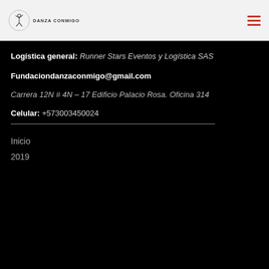DANZA CONMIGO
Logística general: Runner Stars Eventos y Logística SAS
Fundaciondanzaconmigo@gmail.com
Carrera 12N # 4N – 17 Edificio Palacio Rosa. Oficina 314
Celular: +573003450024
Inicio
2019